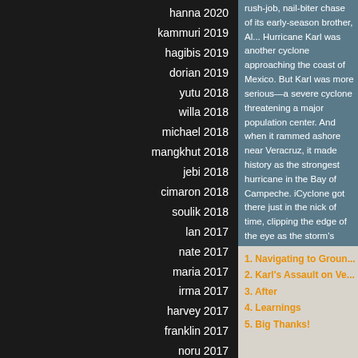hanna 2020
kammuri 2019
hagibis 2019
dorian 2019
yutu 2018
willa 2018
michael 2018
mangkhut 2018
jebi 2018
cimaron 2018
soulik 2018
lan 2017
nate 2017
maria 2017
irma 2017
harvey 2017
franklin 2017
noru 2017
debbie 2017
haima 2016
matthew 2016
megi 2016
rush-job, nail-biter chase of its early-season brother, Al... Hurricane Karl was another cyclone approaching the coast of Mexico. But Karl was more serious—a severe cyclone threatening a major population center. And when it rammed ashore near Veracruz, it made history as the strongest hurricane in the Bay of Campeche. iCyclone got there just in the nick of time, clipping the edge of the eye as the storm's violent winds raked the northern outskirts of the old Mexican city.
1. Navigating to Ground Zero
2. Karl's Assault on Ve...
3. After
4. Learnings
5. Big Thanks!